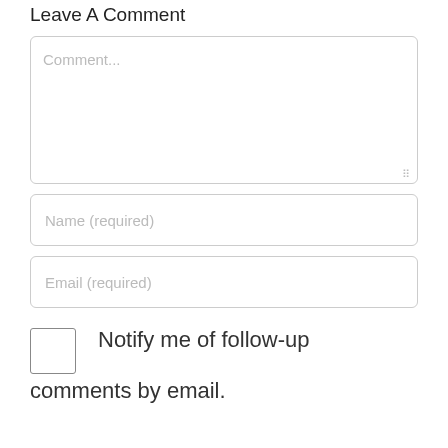Leave A Comment
Comment...
Name (required)
Email (required)
Notify me of follow-up comments by email.